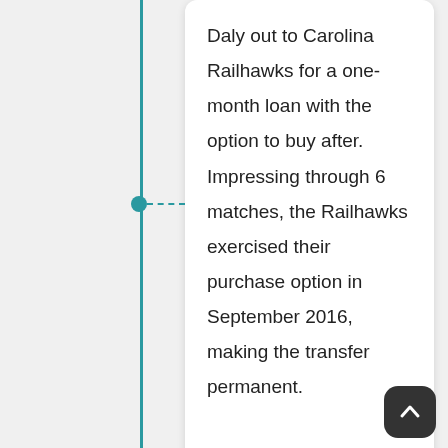Daly out to Carolina Railhawks for a one-month loan with the option to buy after. Impressing through 6 matches, the Railhawks exercised their purchase option in September 2016, making the transfer permanent.
2015
The 2015 season would see Daly keep his starting place in the making 33 appearances and scoring twice. Sacramento would go on to make the playoffs for the second consecutive season, but lost out in the first round to eventual finalists LA Galaxy II.